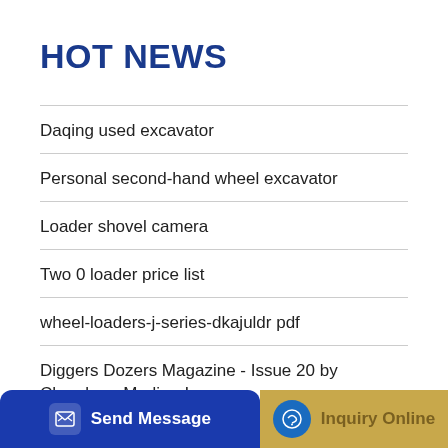HOT NEWS
Daqing used excavator
Personal second-hand wheel excavator
Loader shovel camera
Two 0 loader price list
wheel-loaders-j-series-dkajuldr pdf
Diggers Dozers Magazine - Issue 20 by Chambers Media - Issuu
Sany large loader